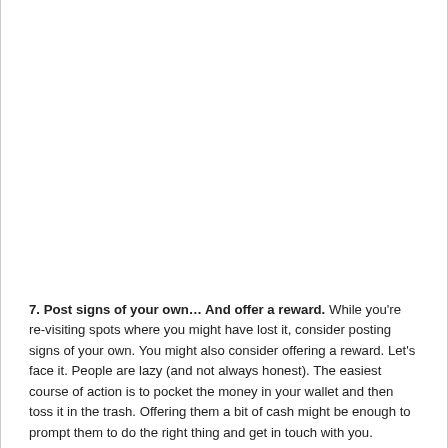7. Post signs of your own… And offer a reward. While you're re-visiting spots where you might have lost it, consider posting signs of your own. You might also consider offering a reward. Let's face it. People are lazy (and not always honest). The easiest course of action is to pocket the money in your wallet and then toss it in the trash. Offering them a bit of cash might be enough to prompt them to do the right thing and get in touch with you.